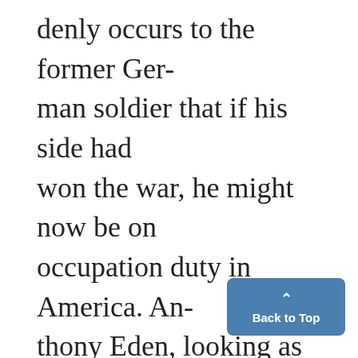denly occurs to the former German soldier that if his side had won the war, he might now be on occupation duty in America. Anthony Eden, looking as British as can be, speaks - and obviously thinks - in French as he converses with those making the movie.
There is a sense of balance as the realities of the past are used to illustrate - or contradict - the memories voiced in the present: the names of the dead on
[Figure (other): Back to Top button — a blue rounded rectangle with an upward caret arrow and the text 'Back to Top' in white]